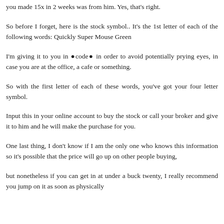you made 15x in 2 weeks was from him. Yes, that's right.
So before I forget, here is the stock symbol.. It's the 1st letter of each of the following words: Quickly Super Mouse Green
I'm giving it to you in ïcodeï in order to avoid potentially prying eyes, in case you are at the office, a cafe or something.
So with the first letter of each of these words, you've got your four letter symbol.
Input this in your online account to buy the stock or call your broker and give it to him and he will make the purchase for you.
One last thing, I don't know if I am the only one who knows this information so it's possible that the price will go up on other people buying,
but nonetheless if you can get in at under a buck twenty, I really recommend you jump on it as soon as physically